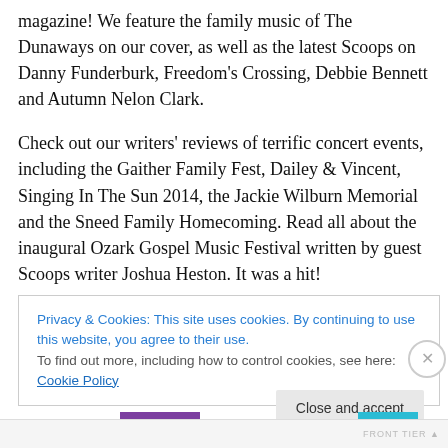magazine! We feature the family music of The Dunaways on our cover, as well as the latest Scoops on Danny Funderburk, Freedom's Crossing, Debbie Bennett and Autumn Nelon Clark.
Check out our writers' reviews of terrific concert events, including the Gaither Family Fest, Dailey & Vincent, Singing In The Sun 2014, the Jackie Wilburn Memorial and the Sneed Family Homecoming. Read all about the inaugural Ozark Gospel Music Festival written by guest Scoops writer Joshua Heston. It was a hit!
Privacy & Cookies: This site uses cookies. By continuing to use this website, you agree to their use.
To find out more, including how to control cookies, see here: Cookie Policy
Close and accept